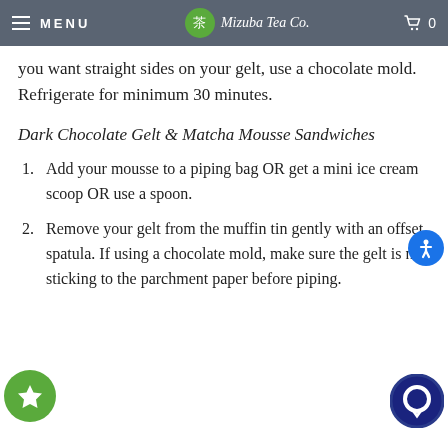MENU | 茶 Mizuba Tea Co. | 🛒 0
you want straight sides on your gelt, use a chocolate mold. Refrigerate for minimum 30 minutes.
Dark Chocolate Gelt & Matcha Mousse Sandwiches
Add your mousse to a piping bag OR get a mini ice cream scoop OR use a spoon.
Remove your gelt from the muffin tin gently with an offset spatula. If using a chocolate mold, make sure the gelt is not sticking to the parchment paper before piping.